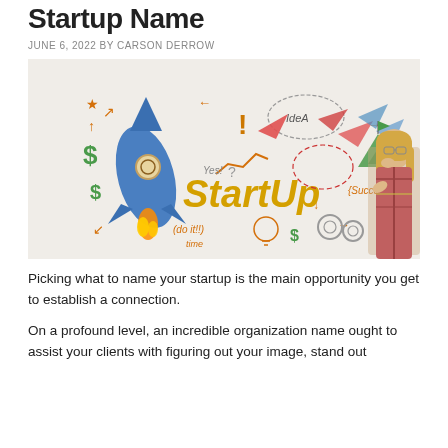Startup Name
JUNE 6, 2022 BY CARSON DERROW
[Figure (illustration): Startup concept illustration showing a blue rocket, colorful doodles of dollar signs, idea bubbles, paper planes, arrows, light bulb, gears, and the word 'StartUp' in large yellow text, with a woman in a plaid shirt thinking, against a white textured wall background.]
Picking what to name your startup is the main opportunity you get to establish a connection.
On a profound level, an incredible organization name ought to assist your clients with figuring out your image, stand out